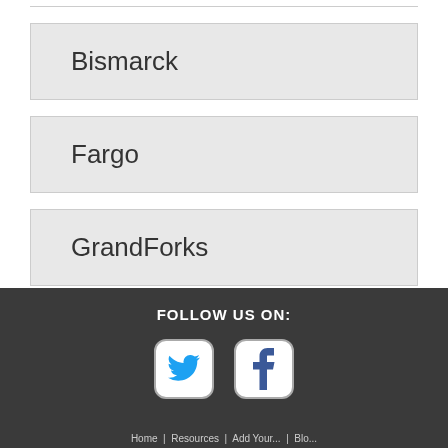Bismarck
Fargo
GrandForks
FOLLOW US ON: